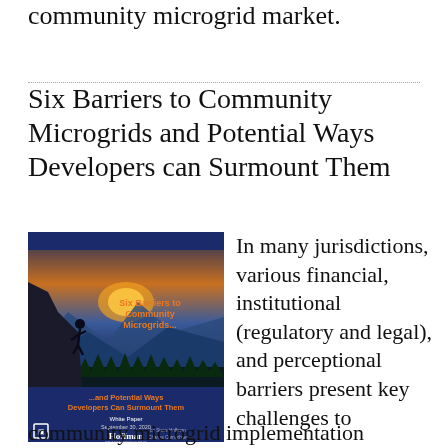community microgrid market.
Six Barriers to Community Microgrids and Potential Ways Developers can Surmount Them
[Figure (photo): Book cover for 'Six Barriers to Community Microgrids... and Potential Ways Developers Can Surmount Them', a White Paper dated September 30, 2020 by Steve Hoffman and Charles Carmichael, published by Hoffman Power Consulting. Cover shows silhouette of rock climber against a mountain/forest backdrop with blue overlay.]
In many jurisdictions, various financial, institutional (regulatory and legal), and perceptional barriers present key challenges to community microgrid implementation